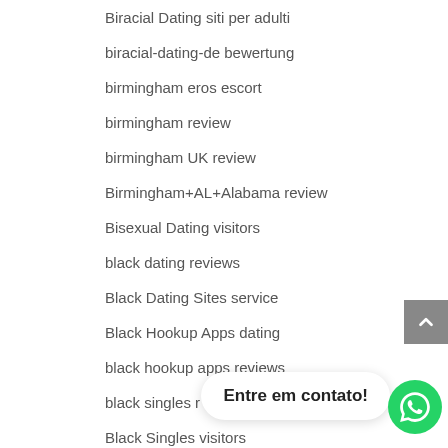Biracial Dating siti per adulti
biracial-dating-de bewertung
birmingham eros escort
birmingham review
birmingham UK review
Birmingham+AL+Alabama review
Bisexual Dating visitors
black dating reviews
Black Dating Sites service
Black Hookup Apps dating
black hookup apps reviews
black singles r…
Black Singles visitors
Entre em contato!